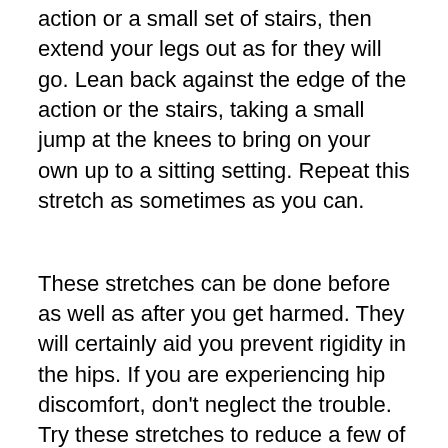action or a small set of stairs, then extend your legs out as for they will go. Lean back against the edge of the action or the stairs, taking a small jump at the knees to bring on your own up to a sitting setting. Repeat this stretch as sometimes as you can.
These stretches can be done before as well as after you get harmed. They will certainly aid you prevent rigidity in the hips. If you are experiencing hip discomfort, don't neglect the trouble. Try these stretches to reduce a few of your discomfort. You may be pleasantly stunned by how much extending and warm ups as well as other workouts can soothe your signs and also make you feel much better.